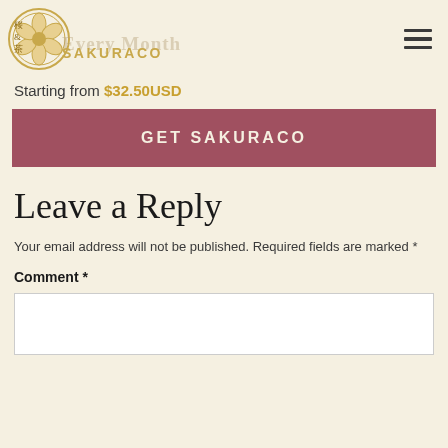Every Month — SAKURACO logo and navigation
Starting from $32.50USD
GET SAKURACO
Leave a Reply
Your email address will not be published. Required fields are marked *
Comment *